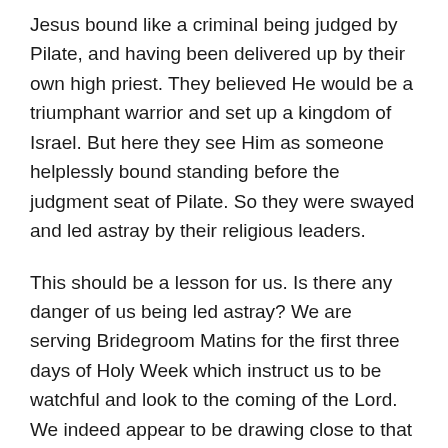Jesus bound like a criminal being judged by Pilate, and having been delivered up by their own high priest. They believed He would be a triumphant warrior and set up a kingdom of Israel. But here they see Him as someone helplessly bound standing before the judgment seat of Pilate. So they were swayed and led astray by their religious leaders.
This should be a lesson for us. Is there any danger of us being led astray? We are serving Bridegroom Matins for the first three days of Holy Week which instruct us to be watchful and look to the coming of the Lord. We indeed appear to be drawing close to that actual happening. But the Lord said, “When the Son of Man comes will He find faith on the earth?” (Luke 18:8) The first Eldress (Taxiarchia) of the convent of the Birth of the Theotokos near Pittsburg once commented: “Our holy fathers feared